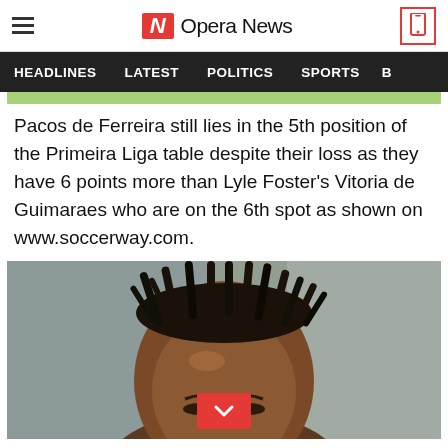Opera News
HEADLINES  LATEST  POLITICS  SPORTS
Pacos de Ferreira still lies in the 5th position of the Primeira Liga table despite their loss as they have 6 points more than Lyle Foster's Vitoria de Guimaraes who are on the 6th spot as shown on www.soccerway.com.
[Figure (photo): Close-up portrait of a young Black man with dreadlocks, face partially visible, grey/green blurred background. A red button with a downward chevron is overlaid at the bottom center.]